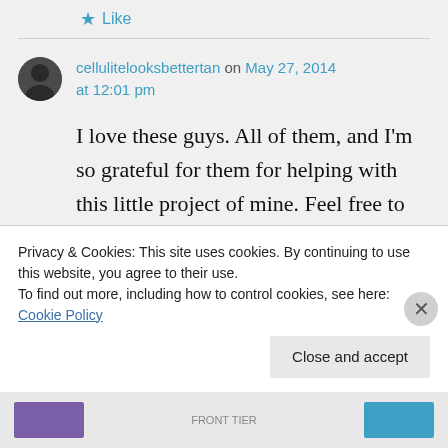★ Like
cellulitelooksbettertan on May 27, 2014 at 12:01 pm
I love these guys. All of them, and I'm so grateful for them for helping with this little project of mine. Feel free to chime in with anything you
Privacy & Cookies: This site uses cookies. By continuing to use this website, you agree to their use.
To find out more, including how to control cookies, see here: Cookie Policy
Close and accept